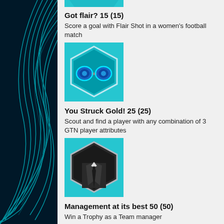[Figure (illustration): Top cropped badge icon (cyan/teal background, partially visible)]
Got flair? 15 (15)
Score a goal with Flair Shot in a women's football match
[Figure (illustration): Badge icon showing binoculars on cyan background with hexagonal border]
You Struck Gold! 25 (25)
Scout and find a player with any combination of 3 GTN player attributes
[Figure (illustration): Badge icon showing a suit/tie on dark hexagonal background]
Management at its best 50 (50)
Win a Trophy as a Team manager
[Figure (illustration): Badge icon showing a green jersey figure on cyan background]
From zero to hero 30 (30)
Get your Play as Player to be featured in the Team of the Week
[Figure (illustration): Bottom partially visible badge icon (cyan/teal, cropped)]